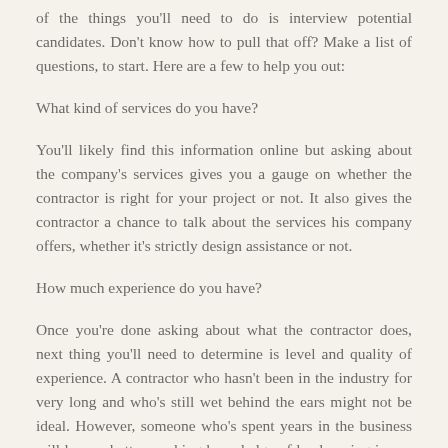of the things you'll need to do is interview potential candidates. Don't know how to pull that off? Make a list of questions, to start. Here are a few to help you out:
What kind of services do you have?
You'll likely find this information online but asking about the company's services gives you a gauge on whether the contractor is right for your project or not. It also gives the contractor a chance to talk about the services his company offers, whether it's strictly design assistance or not.
How much experience do you have?
Once you're done asking about what the contractor does, next thing you'll need to determine is level and quality of experience. A contractor who hasn't been in the industry for very long and who's still wet behind the ears might not be ideal. However, someone who's spent years in the business will have a better working knowledge of landscaping issues and how to fix them.